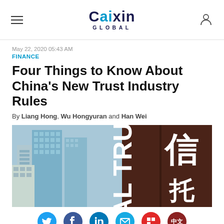Caixin Global
May 22, 2020 05:43 AM
FINANCE
Four Things to Know About China's New Trust Industry Rules
By Liang Hong, Wu Hongyuran and Han Wei
[Figure (photo): Photo of city skyscrapers on the left and a dark brown sign reading 'AL TRU' and Chinese characters 信 on the right, suggesting a trust company building.]
Social share icons: Twitter, Facebook, LinkedIn, Email, Flipboard, 中文